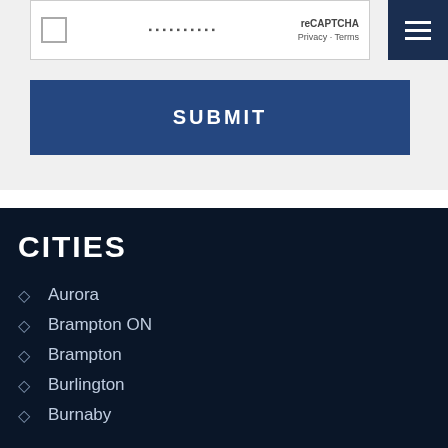[Figure (screenshot): reCAPTCHA widget with checkbox, squiggly text, and reCAPTCHA Privacy/Terms label]
[Figure (screenshot): Hamburger menu icon (three horizontal lines) on dark navy background in top-right corner]
SUBMIT
CITIES
Aurora
Brampton ON
Brampton
Burlington
Burnaby